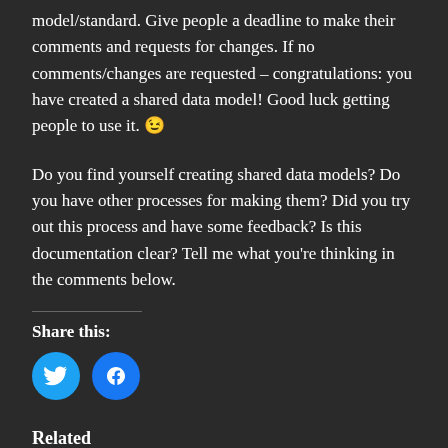model/standard. Give people a deadline to make their comments and requests for changes. If no comments/changes are requested – congratulations: you have created a shared data model! Good luck getting people to use it. 😉
Do you find yourself creating shared data models? Do you have other processes for making them? Did you try out this process and have some feedback? Is this documentation clear? Tell me what you're thinking in the comments below.
Share this:
[Figure (other): Twitter and Facebook share buttons (circular blue icons with bird and f logos)]
Related